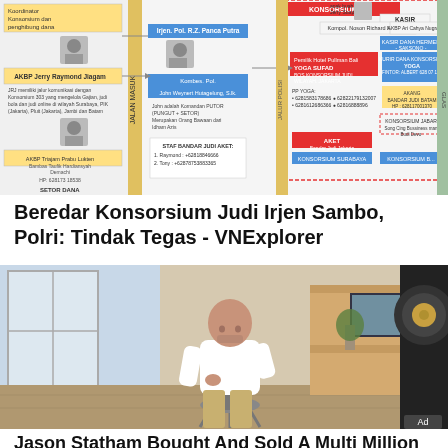[Figure (flowchart): Organizational flowchart showing Konsorsium 301 gambling syndicate network with police officers, bankers, couriers, and regional consortiums connected by arrows. Contains names, phone numbers, and roles in Indonesian.]
Beredar Konsorsium Judi Irjen Sambo, Polri: Tindak Tegas - VNExplorer
[Figure (photo): Photo of a bald man in a white long-sleeve shirt and beige pants sitting on an office chair at a wooden desk with a computer monitor, in a bright modern home office. A large black speaker is visible on the right. Ad label present.]
Jason Statham Bought And Sold A Multi Million